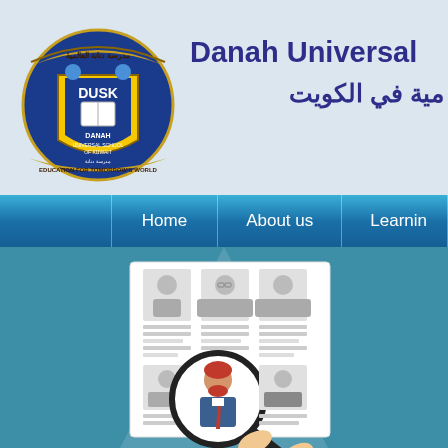[Figure (logo): Danah Universal School of Kuwait (DUSK) circular crest/badge logo in blue and gold with two figures and a book, Arabic text around the top and English text around the bottom reading EDUCATION FOR TOMORROW'S WORLD]
Danah Universal مدرسة دنانة العالمية في الكويت
[Figure (screenshot): Website navigation bar with teal/blue gradient background showing menu items: Home, About us, Learning (partially visible)]
[Figure (illustration): Recruitment/hiring illustration on steel-blue background showing a paper with 6 candidate profile photos in a grid, with a magnifying glass highlighting one candidate with red hair and red tie, and hands holding the magnifying glass]